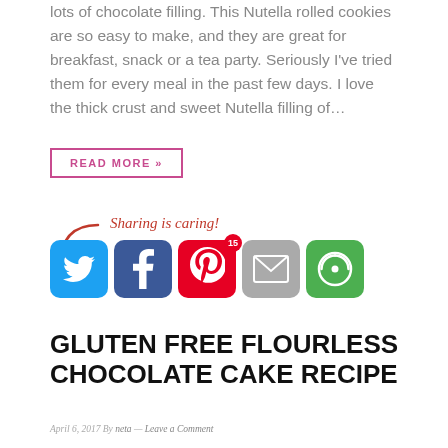lots of chocolate filling. This Nutella rolled cookies are so easy to make, and they are great for breakfast, snack or a tea party. Seriously I've tried them for every meal in the past few days. I love the thick crust and sweet Nutella filling of…
READ MORE »
[Figure (infographic): Sharing is caring! social share buttons: Twitter, Facebook, Pinterest (with badge 15), Email, More options]
GLUTEN FREE FLOURLESS CHOCOLATE CAKE RECIPE
April 6, 2017 By neta — Leave a Comment